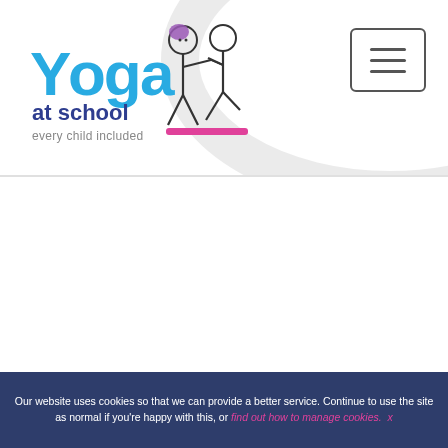[Figure (logo): Yoga at School logo — colourful text 'Yoga at school every child included' with stick-figure children illustrations, on white background with grey decorative arch]
[Figure (illustration): Hamburger/navigation menu button — three horizontal lines inside a rounded rectangle border]
Our website uses cookies so that we can provide a better service. Continue to use the site as normal if you're happy with this, or find out how to manage cookies.  x